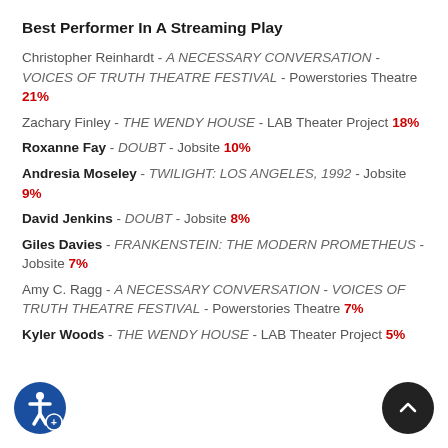Best Performer In A Streaming Play
Christopher Reinhardt - A NECESSARY CONVERSATION - VOICES OF TRUTH THEATRE FESTIVAL - Powerstories Theatre 21%
Zachary Finley - THE WENDY HOUSE - LAB Theater Project 18%
Roxanne Fay - DOUBT - Jobsite 10%
Andresia Moseley - TWILIGHT: LOS ANGELES, 1992 - Jobsite 9%
David Jenkins - DOUBT - Jobsite 8%
Giles Davies - FRANKENSTEIN: THE MODERN PROMETHEUS - Jobsite 7%
Amy C. Ragg - A NECESSARY CONVERSATION - VOICES OF TRUTH THEATRE FESTIVAL - Powerstories Theatre 7%
Kyler Woods - THE WENDY HOUSE - LAB Theater Project 5%